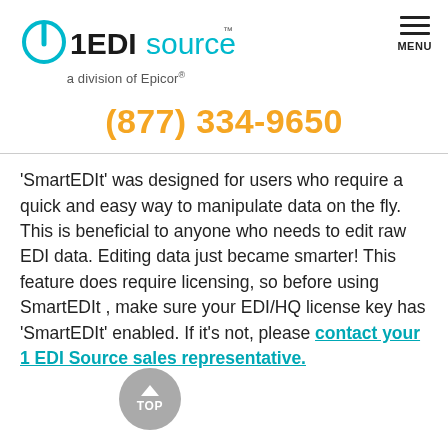1EDISource — a division of Epicor | MENU
(877) 334-9650
'SmartEDIt' was designed for users who require a quick and easy way to manipulate data on the fly. This is beneficial to anyone who needs to edit raw EDI data. Editing data just became smarter! This feature does require licensing, so before using SmartEDIt , make sure your EDI/HQ license key has 'SmartEDIt' enabled. If it's not, please contact your 1 EDI Source sales representative.